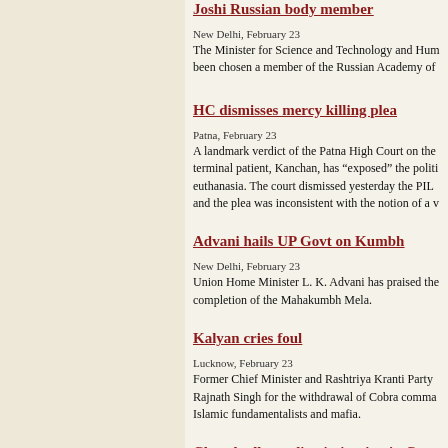Joshi Russian body member
New Delhi, February 23
The Minister for Science and Technology and Hum been chosen a member of the Russian Academy of
HC dismisses mercy killing plea
Patna, February 23
A landmark verdict of the Patna High Court on the terminal patient, Kanchan, has "exposed" the politi euthanasia. The court dismissed yesterday the PIL and the plea was inconsistent with the notion of a v
Advani hails UP Govt on Kumbh
New Delhi, February 23
Union Home Minister L. K. Advani has praised the completion of the Mahakumbh Mela.
Kalyan cries foul
Lucknow, February 23
Former Chief Minister and Rashtriya Kranti Party Rajnath Singh for the withdrawal of Cobra comma Islamic fundamentalists and mafia.
Church alleges discrimination in Census
New Delhi, February 23
The Catholic Church today threatened to take legal census operations, describing it as a violation of fu